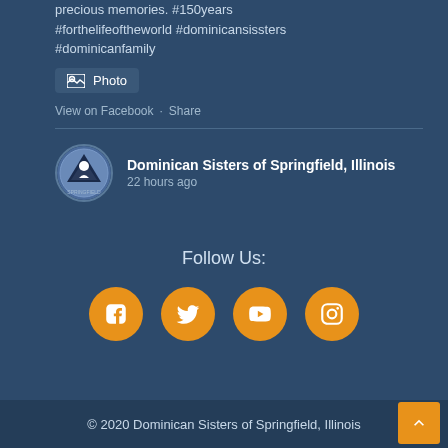precious memories. #150years #forthelifeoftheworld #dominicansissters #dominicanfamily
[Figure (other): Photo button with image icon]
View on Facebook · Share
Dominican Sisters of Springfield, Illinois
22 hours ago
Follow Us:
[Figure (other): Social media icons: Facebook, Twitter, YouTube, Instagram]
© 2020 Dominican Sisters of Springfield, Illinois